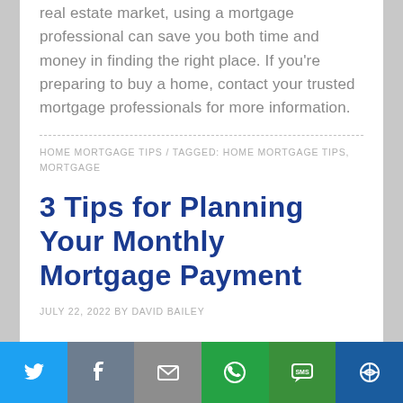real estate market, using a mortgage professional can save you both time and money in finding the right place. If you're preparing to buy a home, contact your trusted mortgage professionals for more information.
HOME MORTGAGE TIPS / TAGGED: HOME MORTGAGE TIPS, MORTGAGE
3 Tips for Planning Your Monthly Mortgage Payment
JULY 22, 2022 BY DAVID BAILEY